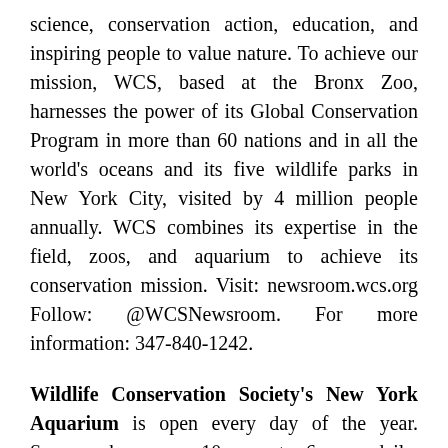science, conservation action, education, and inspiring people to value nature. To achieve our mission, WCS, based at the Bronx Zoo, harnesses the power of its Global Conservation Program in more than 60 nations and in all the world's oceans and its five wildlife parks in New York City, visited by 4 million people annually. WCS combines its expertise in the field, zoos, and aquarium to achieve its conservation mission. Visit: newsroom.wcs.org Follow: @WCSNewsroom. For more information: 347-840-1242.
Wildlife Conservation Society's New York Aquarium is open every day of the year. Summer hours are 10 a.m. to 6 p.m. daily. Fall/winter/spring hours are 10